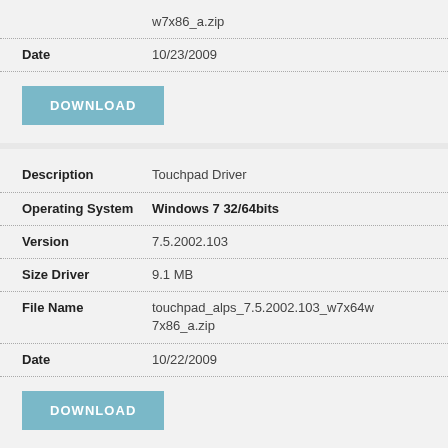| Field | Value |
| --- | --- |
|  | w7x86_a.zip |
| Date | 10/23/2009 |
DOWNLOAD
| Field | Value |
| --- | --- |
| Description | Touchpad Driver |
| Operating System | Windows 7 32/64bits |
| Version | 7.5.2002.103 |
| Size Driver | 9.1 MB |
| File Name | touchpad_alps_7.5.2002.103_w7x64w7x86_a.zip |
| Date | 10/22/2009 |
DOWNLOAD